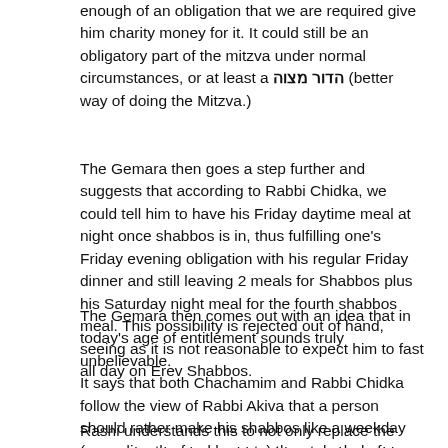enough of an obligation that we are required give him charity money for it. It could still be an obligatory part of the mitzva under normal circumstances, or at least a הדור מצוה (better way of doing the Mitzva.)
The Gemara then goes a step further and suggests that according to Rabbi Chidka, we could tell him to have his Friday daytime meal at night once shabbos is in, thus fulfilling one's Friday evening obligation with his regular Friday dinner and still leaving 2 meals for Shabbos plus his Saturday night meal for the fourth shabbos meal. This possibility is rejected out of hand, seeing as it is not reasonable to expect him to fast all day on Erev Shabbos.
The Gemara then comes out with an idea that in today's age of entitlement sounds truly unbelievable. It says that both Chachamim and Rabbi Chidka follow the view of Rabbi Akiva that a person should rather make his shabbos like a weekday (regarding the food he eats) than take help from other people!
Rashi understands this to not only replace the suggestion that he eat his Friday meal on Friday night, but also the suggestion that he